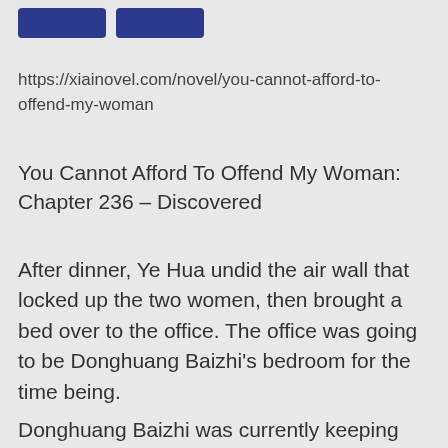[Figure (other): Two dark blue rectangular buttons in the top-left corner]
https://xiainovel.com/novel/you-cannot-afford-to-offend-my-woman
You Cannot Afford To Offend My Woman: Chapter 236 – Discovered
After dinner, Ye Hua undid the air wall that locked up the two women, then brought a bed over to the office. The office was going to be Donghuang Baizhi's bedroom for the time being.
Donghuang Baizhi was currently keeping her